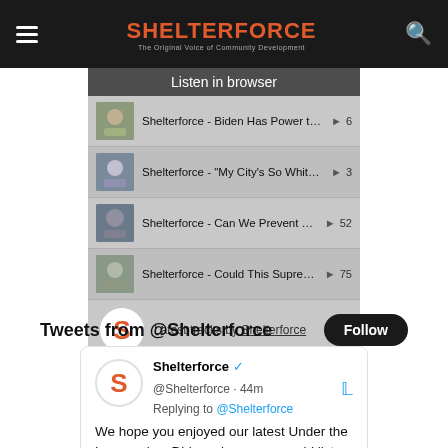SHELTERFORCE — The Original Voice of Community Development
[Figure (screenshot): Soundcloud widget showing podcast tracks: 'Listen in browser' banner, tracks including Biden Has Power to Impose Rent Control, My City's So White I Moved by Brandon Duon..., Can We Prevent Slumlords From Buying Mo..., Could This Supreme Court Ruling Affect Fai... Play counts: 6, 3, 52, 75. Latest tracks by Shelterforce. Privacy policy link.]
Tweets from @Shelterforce
Follow
Shelterforce @Shelterforce · 44m  Replying to @Shelterforce  We hope you enjoyed our latest Under the Lens series. Did you know you could listen to all the articles on Soundcloud? Check it